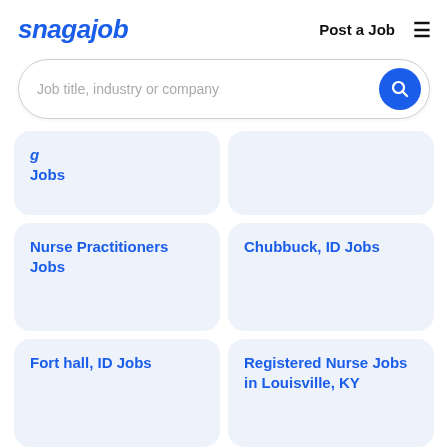snagajob   Post a Job  ≡
Job title, industry or company
Jobs
(partial card - cropped)
Nurse Practitioners Jobs
Chubbuck, ID Jobs
Fort hall, ID Jobs
Registered Nurse Jobs in Louisville, KY